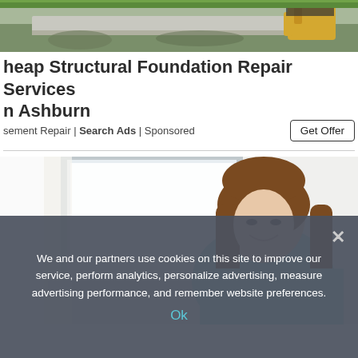[Figure (photo): Top portion showing a construction/foundation repair scene with a worker wearing yellow gloves, outdoor setting with grass and concrete]
heap Structural Foundation Repair Services n Ashburn
sement Repair | Search Ads | Sponsored
Get Offer
[Figure (photo): A smiling young woman with long brown hair wearing a light blue top, looking down, photographed indoors near a window]
We and our partners use cookies on this site to improve our service, perform analytics, personalize advertising, measure advertising performance, and remember website preferences.
Ok